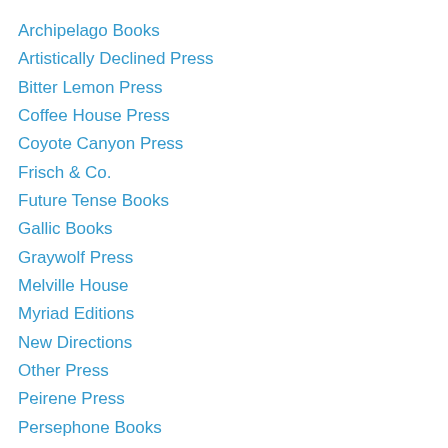Archipelago Books
Artistically Declined Press
Bitter Lemon Press
Coffee House Press
Coyote Canyon Press
Frisch & Co.
Future Tense Books
Gallic Books
Graywolf Press
Melville House
Myriad Editions
New Directions
Other Press
Peirene Press
Persephone Books
Publishing Genius Press
Pushkin Children's Books
Pushkin Press
Salt Publishing
Serpent's Tail